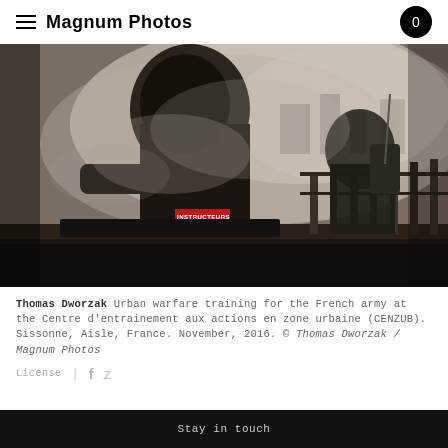Magnum Photos
[Figure (photo): Two soldiers in dark gear silhouetted against smoky hazy air during urban warfare training. The lead figure has a red patch reading 'INSTRUCTEURS'. They are leaning over a railing structure.]
Thomas Dworzak Urban warfare training for the French army at the Centre d'entrainement aux actions en zone urbaine (CENZUB). Sissonne, Aisle, France. November, 2016. © Thomas Dworzak / Magnum Photos
License
Stay in touch